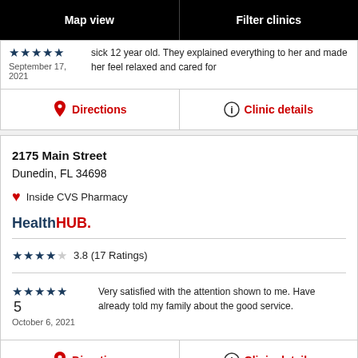Map view | Filter clinics
sick 12 year old. They explained everything to her and made her feel relaxed and cared for
September 17, 2021
Directions
Clinic details
2175 Main Street
Dunedin, FL 34698
Inside CVS Pharmacy
HealthHUB.
3.8 (17 Ratings)
5
October 6, 2021
Very satisfied with the attention shown to me. Have already told my family about the good service.
Directions
Clinic details